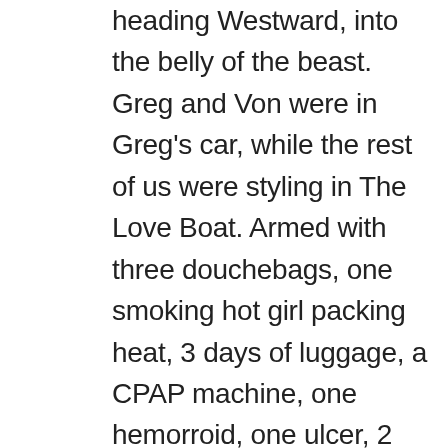heading Westward, into the belly of the beast. Greg and Von were in Greg's car, while the rest of us were styling in The Love Boat. Armed with three douchebags, one smoking hot girl packing heat, 3 days of luggage, a CPAP machine, one hemorroid, one ulcer, 2 packages of nip strips, 8ounces of body glide, 4 smartass tongues, and a wealth of knowledge regarding life's mysteries, such as the construction of duck calls, and how to successfully hold the title belt after winning at Wrestlemania, we could not lose. Assuming Amanda did not spill the extra quart of oil or the extra gallon of antifreeze which conveniently ride shotgun in The Love